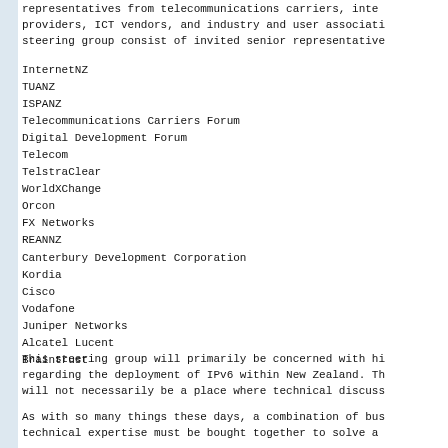representatives from telecommunications carriers, internet service providers, ICT vendors, and industry and user associations. The steering group consist of invited senior representatives from:
InternetNZ
TUANZ
ISPANZ
Telecommunications Carriers Forum
Digital Development Forum
Telecom
TelstraClear
WorldXChange
Orcon
FX Networks
REANNZ
Canterbury Development Corporation
Kordia
Cisco
Vodafone
Juniper Networks
Alcatel Lucent
Braintrust
This steering group will primarily be concerned with high-level strategy regarding the deployment of IPv6 within New Zealand. The steering group will not necessarily be a place where technical discussions take place.
As with so many things these days, a combination of business need and technical expertise must be bought together to solve a problem.